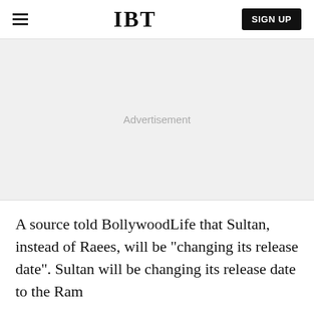IBT
[Figure (other): Advertisement placeholder area with light gray background]
A source told BollywoodLife that Sultan, instead of Raees, will be "changing its release date". Sultan will be changing its release date to the Ramada